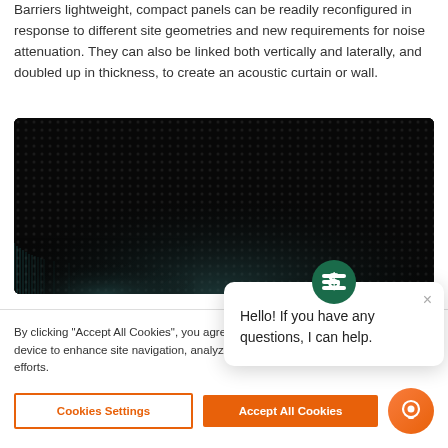Barriers lightweight, compact panels can be readily reconfigured in response to different site geometries and new requirements for noise attenuation. They can also be linked both vertically and laterally, and doubled up in thickness, to create an acoustic curtain or wall.
[Figure (photo): Close-up photograph of dark acoustic panel material with textured surface pattern, showing teal/green fringe elements at lower left edge]
[Figure (screenshot): Chat widget popup with logo icon, close button (×), and message: Hello! If you have any questions, I can help.]
By clicking "Accept All Cookies", you agree to the storing of cookies on your device to enhance site navigation, analyze site usage, and assist in our marketing efforts.
[Figure (other): Cookie consent banner with Cookies Settings button (outlined orange) and Accept All Cookies button (filled orange), plus circular chat FAB button]